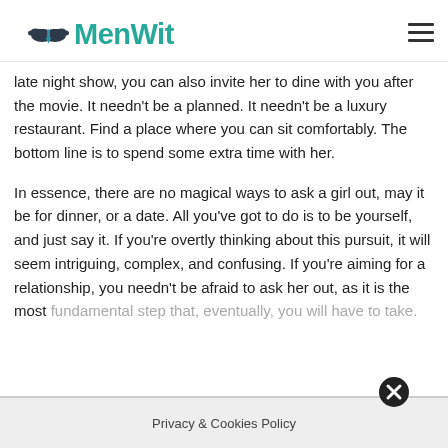MenWit
late night show, you can also invite her to dine with you after the movie. It needn't be a planned. It needn't be a luxury restaurant. Find a place where you can sit comfortably. The bottom line is to spend some extra time with her.
In essence, there are no magical ways to ask a girl out, may it be for dinner, or a date. All you've got to do is to be yourself, and just say it. If you're overtly thinking about this pursuit, it will seem intriguing, complex, and confusing. If you're aiming for a relationship, you needn't be afraid to ask her out, as it is the most fundamental step that, eventually, you will have to take.
Privacy & Cookies Policy